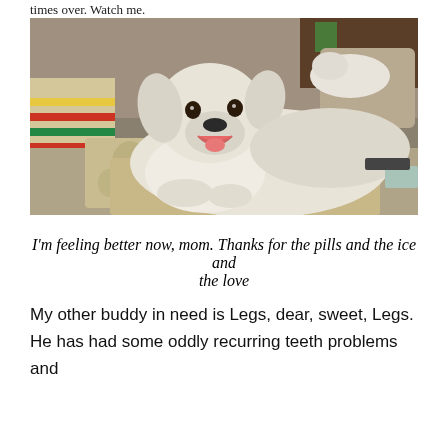times over. Watch me.
[Figure (photo): A large white fluffy dog (Great Pyrenees) lying on a couch with decorative pillows and a blanket, looking happy with mouth open. A striped blanket with red, yellow, green stripes is visible on the left. Another white dog is visible resting on a cushion in the background.]
I'm feeling better now, mom. Thanks for the pills and the ice and the love
My other buddy in need is Legs, dear, sweet, Legs. He has had some oddly recurring teeth problems and